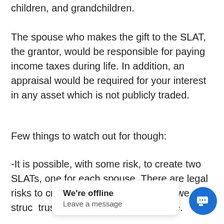children, and grandchildren.
The spouse who makes the gift to the SLAT, the grantor, would be responsible for paying income taxes during life. In addition, an appraisal would be required for your interest in any asset which is not publicly traded.
Few things to watch out for though:
-It is possible, with some risk, to create two SLATs, one for each spouse. There are legal risks to creating reciprocal trusts, but we can stru… trusts whi… for the other spouse.